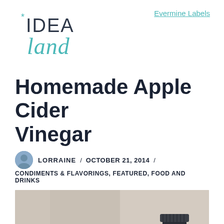[Figure (logo): Idea Land blog logo — 'IDEA' in dark gray sans-serif with a teal asterisk, 'land' in teal cursive script below]
Evermine Labels
Homemade Apple Cider Vinegar
LORRAINE / OCTOBER 21, 2014 / CONDIMENTS & FLAVORINGS, FEATURED, FOOD AND DRINKS
[Figure (photo): Photo of a dark jar or bottle on a counter near a window, with blurred background]